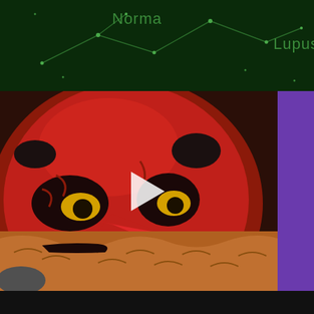[Figure (screenshot): Star constellation map with dark green background showing constellation lines and star points, with labels 'Norma' and 'Lupus' in green text]
[Figure (screenshot): Video thumbnail showing a red Japanese Oni demon mask artwork with detailed paintwork, a white play button overlay in the center, and a vertical purple sidebar on the right with text 'shinobiexchan' in white rotated text]
This website uses cookies to improve your experience. We'll assume you're ok with this, but you can opt-out if you wish.
Accept    Reject    Read More